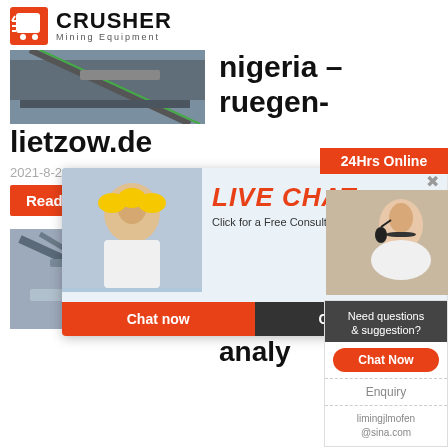[Figure (logo): Crusher Mining Equipment logo with red cart icon]
[Figure (photo): Industrial mining conveyor equipment photo top]
nigeria - ruegen-lietzow.de
2021-8-26
Read M...
[Figure (screenshot): Live Chat popup overlay with workers in hard hats, Chat now and Chat later buttons]
24Hrs Online
[Figure (photo): Customer service representative with headset]
Need questions & suggestion?
Chat Now
Enquiry
limingjlmofen@sina.com
[Figure (photo): Industrial mining conveyor equipment photo bottom]
pet bo... washi... crush... analy...